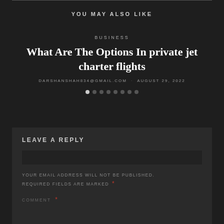YOU MAY ALSO LIKE
BUSINESS
What Are The Options In private jet charter flights
DARSHANSHAH834@GMAIL.COM · AUGUST 29, 2022
LEAVE A REPLY
YOUR EMAIL ADDRESS WILL NOT BE PUBLISHED. REQUIRED FIELDS ARE MARKED *
COMMENT *